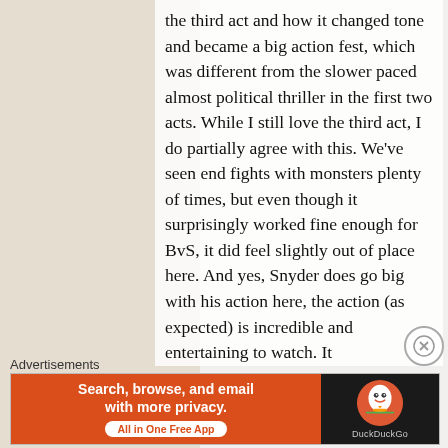the third act and how it changed tone and became a big action fest, which was different from the slower paced almost political thriller in the first two acts. While I still love the third act, I do partially agree with this. We've seen end fights with monsters plenty of times, but even though it surprisingly worked fine enough for BvS, it did feel slightly out of place here. And yes, Snyder does go big with his action here, the action (as expected) is incredible and entertaining to watch. It
Advertisements
[Figure (other): DuckDuckGo advertisement banner with orange background on left reading 'Search, browse, and email with more privacy. All in One Free App' and dark background on right with DuckDuckGo logo and name.]